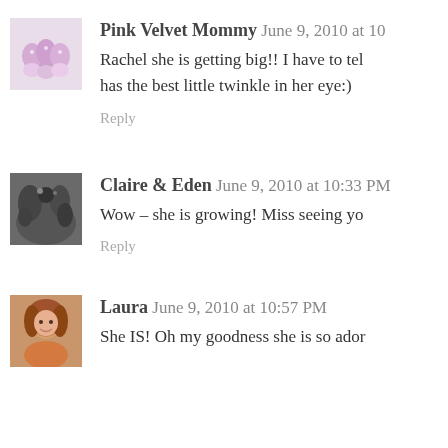[Figure (photo): Avatar image of Pink Velvet Mommy - cupcakes photo]
Pink Velvet Mommy June 9, 2010 at 10
Rachel she is getting big!! I have to tel has the best little twinkle in her eye:)
Reply
[Figure (photo): Avatar image of Claire & Eden - dark floral/nature photo]
Claire & Eden June 9, 2010 at 10:33 PM
Wow - she is growing! Miss seeing yo
Reply
[Figure (photo): Avatar image of Laura - woman with auburn hair smiling]
Laura June 9, 2010 at 10:57 PM
She IS! Oh my goodness she is so ador